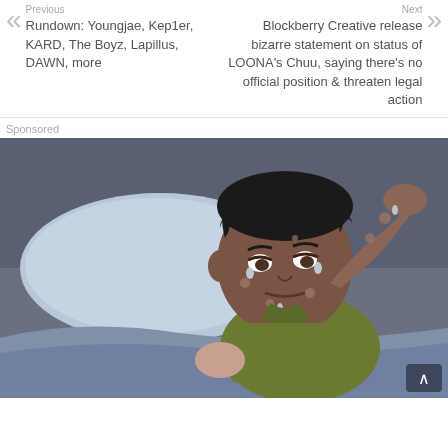Previous
Rundown: Youngjae, Kep1er, KARD, The Boyz, Lapillus, DAWN, more
Next
Blockberry Creative release bizarre statement on status of LOONA's Chuu, saying there's no official position & threaten legal action
Sponsored
[Figure (illustration): Cartoon illustration of a sick boy lying in bed with a pillow, wearing a green shirt, with spots/sweat on his face and arm, holding his head with one hand, looking unwell. Dark blue/grey background suggesting night time.]